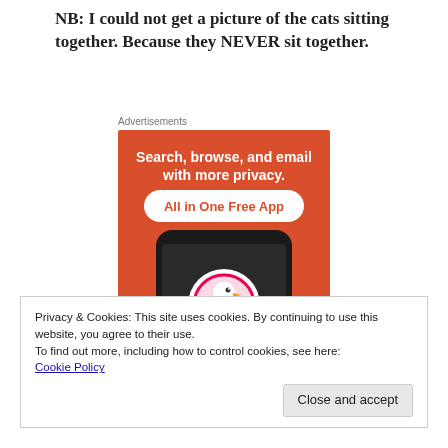NB: I could not get a picture of the cats sitting together. Because they NEVER sit together.
[Figure (illustration): DuckDuckGo advertisement banner with orange background showing 'Search, browse, and email with more privacy. All in One Free App' text and a phone displaying the DuckDuckGo logo duck icon.]
Privacy & Cookies: This site uses cookies. By continuing to use this website, you agree to their use.
To find out more, including how to control cookies, see here:
Cookie Policy